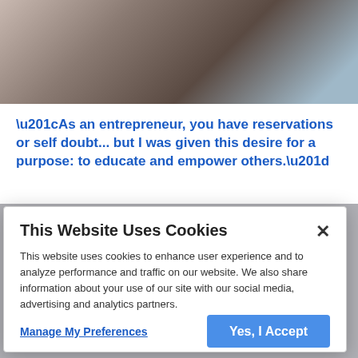[Figure (photo): A woman with long blonde hair wearing a denim jacket, looking down near a kitchen appliance (instant pot or similar).]
“As an entrepreneur, you have reservations or self doubt... but I was given this desire for a purpose: to educate and empower others.”
This Website Uses Cookies
This website uses cookies to enhance user experience and to analyze performance and traffic on our website. We also share information about your use of our site with our social media, advertising and analytics partners.
Manage My Preferences
Yes, I Accept